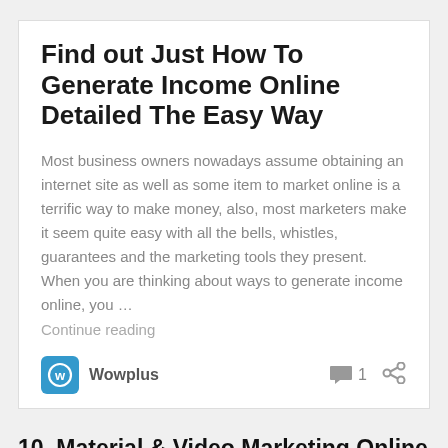Find out Just How To Generate Income Online Detailed The Easy Way
Most business owners nowadays assume obtaining an internet site as well as some item to market online is a terrific way to make money, also, most marketers make it seem quite easy with all the bells, whistles, guarantees and the marketing tools they present. When you are thinking about ways to generate income online, you …
Continue reading
Wowplus
10. Material & Video Marketing Online jobs
Nowadays every online company is trying to find proficient workers who can produce reliable material and videos to